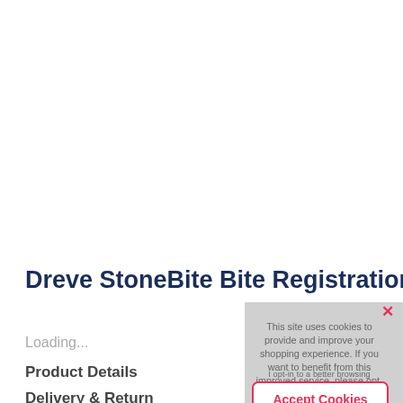Dreve StoneBite Bite Registration
Loading...
Product Details
Delivery & Returns
This site uses cookies to provide and improve your shopping experience. If you want to benefit from this improved service, please opt-in.
For more information, please see our Cookies Page. Cookies Page.
I opt-in to a better browsing experience
Accept Cookies